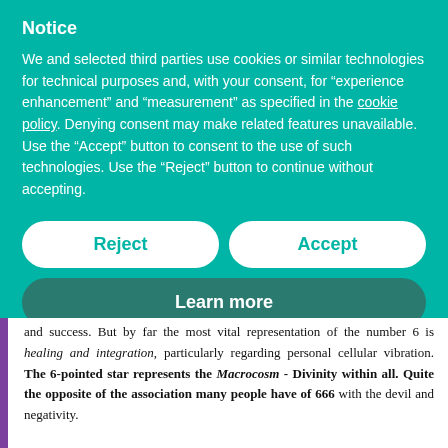Notice
We and selected third parties use cookies or similar technologies for technical purposes and, with your consent, for “experience enhancement” and “measurement” as specified in the cookie policy. Denying consent may make related features unavailable. Use the “Accept” button to consent to the use of such technologies. Use the “Reject” button to continue without accepting.
Reject
Accept
Learn more
and success. But by far the most vital representation of the number 6 is healing and integration, particularly regarding personal cellular vibration. The 6-pointed star represents the Macrocosm - Divinity within all. Quite the opposite of the association many people have of 666 with the devil and negativity.